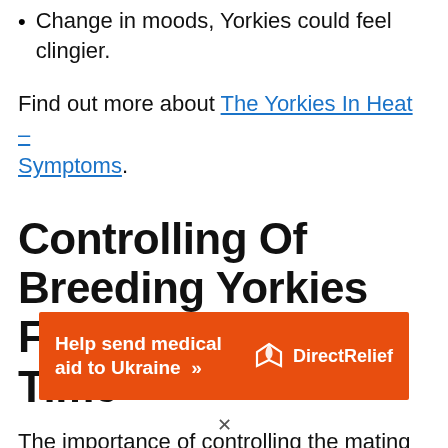Change in moods, Yorkies could feel clingier.
Find out more about The Yorkies In Heat – Symptoms.
Controlling Of Breeding Yorkies First Time
The importance of controlling the mating is crucial in Breeding Yorkies first time. The
[Figure (infographic): Orange banner advertisement: 'Help send medical aid to Ukraine >>' with Direct Relief logo (white bird icon and 'Direct Relief' text) on the right side.]